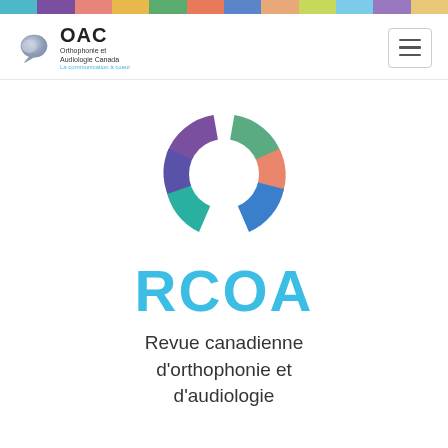[Figure (other): Multicolored horizontal stripe bar at top of page with segments in teal, purple, salmon, mustard, green, coral, steel blue, and other colors]
[Figure (logo): OAC logo: speech bubble icon in grey/blue next to bold text OAC with subtitle Orthophonie et Audiologie Canada and tagline La communication à coeur]
[Figure (logo): RCOA circular segmented donut logo with segments in purple, green, orange/coral, blue, teal, and indigo/violet colors forming a ring with gap at bottom]
RCOA
Revue canadienne d'orthophonie et d'audiologie